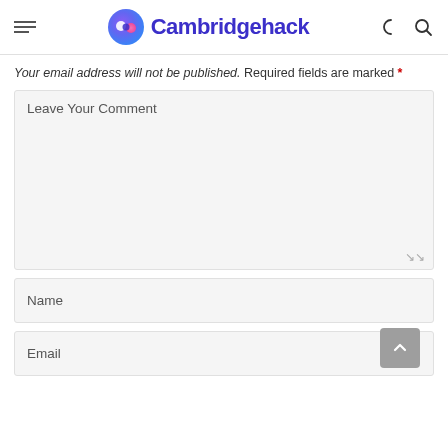Cambridgehack
Your email address will not be published. Required fields are marked *
Leave Your Comment
Name
Email